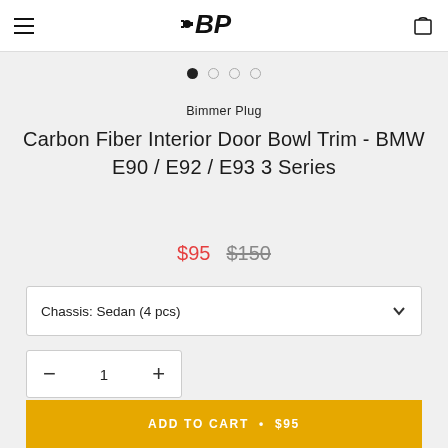Bimmer Plug — navigation header with menu and bag icons
[Figure (logo): Bimmer Plug stylized BP logo in black italic font with plug graphic]
Bimmer Plug
Carbon Fiber Interior Door Bowl Trim - BMW E90 / E92 / E93 3 Series
$95  $150
Chassis: Sedan (4 pcs)
1
ADD TO CART • $95